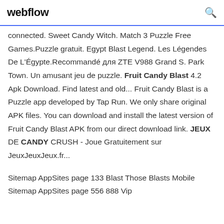webflow
connected. Sweet Candy Witch. Match 3 Puzzle Free Games.Puzzle gratuit. Egypt Blast Legend. Les Légendes De L'Égypte.Recommandé для ZTE V988 Grand S. Park Town. Un amusant jeu de puzzle. Fruit Candy Blast 4.2 Apk Download. Find latest and old... Fruit Candy Blast is a Puzzle app developed by Tap Run. We only share original APK files. You can download and install the latest version of Fruit Candy Blast APK from our direct download link. JEUX DE CANDY CRUSH - Joue Gratuitement sur JeuxJeuxJeux.fr...
Sitemap AppSites page 133 Blast Those Blasts Mobile Sitemap AppSites page 556 888 Vip